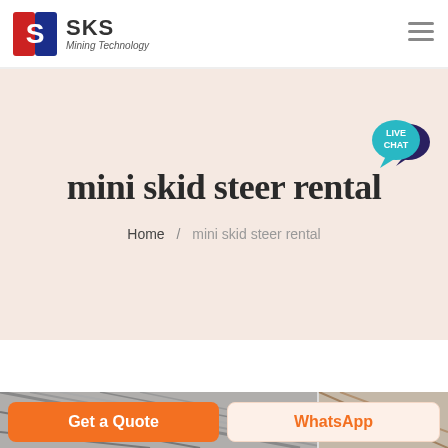SKS Mining Technology
mini skid steer rental
Home / mini skid steer rental
[Figure (photo): Industrial warehouse or factory ceiling structure with metal beams and framework, orange equipment visible on right side]
Get a Quote
WhatsApp